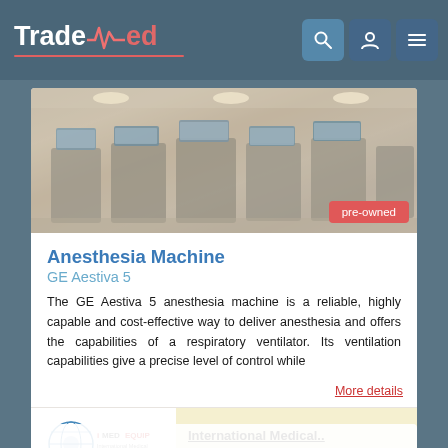TradeMed
[Figure (photo): Photo of a hospital room showing anesthesia machines and monitoring equipment on workstations with ceiling lights]
Anesthesia Machine
GE Aestiva 5
The GE Aestiva 5 anesthesia machine is a reliable, highly capable and cost-effective way to deliver anesthesia and offers the capabilities of a respiratory ventilator. Its ventilation capabilities give a precise level of control while
More details
[Figure (logo): iMEDEQUIP International Medical Equipment logo - globe with stethoscope icon]
International Medical..
Regular Supplier